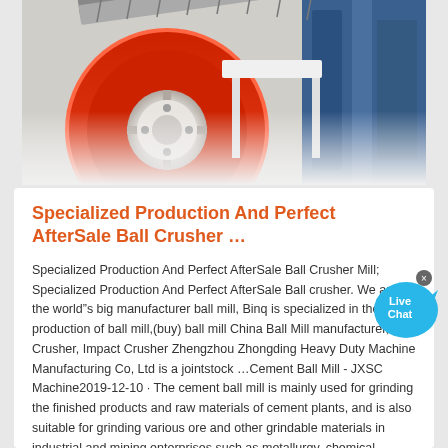[Figure (photo): Close-up photo of industrial machinery — red and blue mechanical components including a large red wheel/pulley with belt drive and blue metal housing]
Specialized Production And Perfect AfterSale Ball Crusher …
Specialized Production And Perfect AfterSale Ball Crusher Mill; Specialized Production And Perfect AfterSale Ball crusher. We are the world"s big manufacturer ball mill, Binq is specialized in the production of ball mill,(buy) ball mill China Ball Mill manufacturer, Jaw Crusher, Impact Crusher Zhengzhou Zhongding Heavy Duty Machine Manufacturing Co, Ltd is a jointstock …Cement Ball Mill - JXSC Machine2019-12-10 · The cement ball mill is mainly used for grinding the finished products and raw materials of cement plants, and is also suitable for grinding various ore and other grindable materials in industrial and mining enterprises such as metallurgy, chemical industry, and electric power. Cement grinding is the last process of cement production, it is to ...